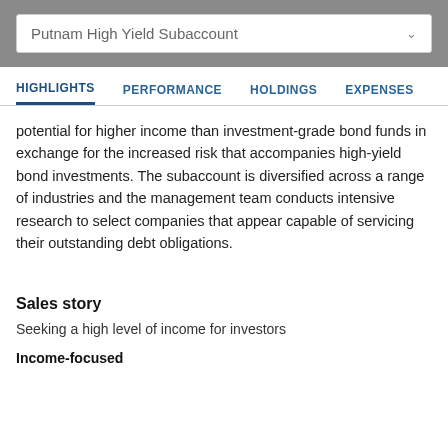Putnam High Yield Subaccount
HIGHLIGHTS  PERFORMANCE  HOLDINGS  EXPENSES
potential for higher income than investment-grade bond funds in exchange for the increased risk that accompanies high-yield bond investments. The subaccount is diversified across a range of industries and the management team conducts intensive research to select companies that appear capable of servicing their outstanding debt obligations.
Sales story
Seeking a high level of income for investors
Income-focused